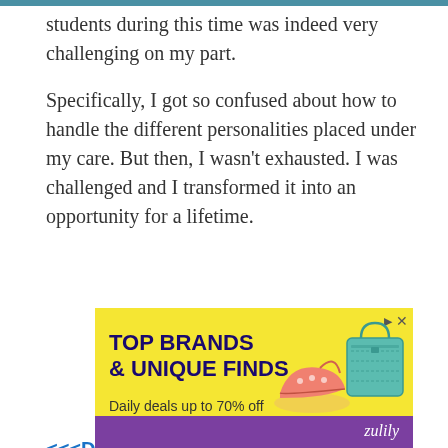students during this time was indeed very challenging on my part.

Specifically, I got so confused about how to handle the different personalities placed under my care. But then, I wasn't exhausted. I was challenged and I transformed it into an opportunity for a lifetime.
<<<Don't miss the best teaching practices in elementary school. They are spread out below...
[Figure (other): Advertisement banner for Zulily: 'TOP BRANDS & UNIQUE FINDS – Daily deals up to 70% off' with images of shoes and a teal handbag on a yellow background with purple accent bar and Zulily logo.]